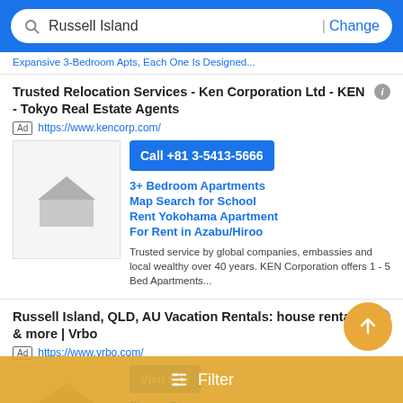Russell Island | Change
Expansive 3-Bedroom Apts, Each One Is Designed...
Trusted Relocation Services - Ken Corporation Ltd - KEN - Tokyo Real Estate Agents
Ad  https://www.kencorp.com/
[Figure (other): House placeholder image]
Call +81 3-5413-5666
3+ Bedroom Apartments
Map Search for School
Rent Yokohama Apartment
For Rent in Azabu/Hiroo
Trusted service by global companies, embassies and local wealthy over 40 years. KEN Corporation offers 1 - 5 Bed Apartments...
Russell Island, QLD, AU Vacation Rentals: house rentals & more | Vrbo
Ad  https://www.vrbo.com/
[Figure (other): House placeholder image for Vrbo ad]
Visit Site
Sleeps 2+
Sleeps 4+